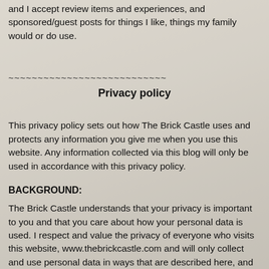and I accept review items and experiences, and sponsored/guest posts for things I like, things my family would or do use.
~~~~~~~~~~~~~~~~~~~~~~~~~~~
Privacy policy
This privacy policy sets out how The Brick Castle uses and protects any information you give me when you use this website. Any information collected via this blog will only be used in accordance with this privacy policy.
BACKGROUND:
The Brick Castle understands that your privacy is important to you and that you care about how your personal data is used. I respect and value the privacy of everyone who visits this website, www.thebrickcastle.com and will only collect and use personal data in ways that are described here, and in a